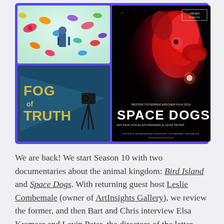[Figure (illustration): Collage of two documentary film images side by side. Left column: top image is Bird Island documentary art showing colorful birds and a human figure; bottom image shows 'FOG OF TRUTH' pennant text with a camera tripod on teal background. Right column: Space Dogs movie poster showing a large red nebula in the shape of a dog against a space background, with 'SPACE DOGS' title text.]
We are back! We start Season 10 with two documentaries about the animal kingdom: Bird Island and Space Dogs. With returning guest host Leslie Combemale (owner of ArtInsights Gallery), we review the former, and then Bart and Chris interview Elsa Kremser and Levin Peter, the directors of the latter. Given the political season